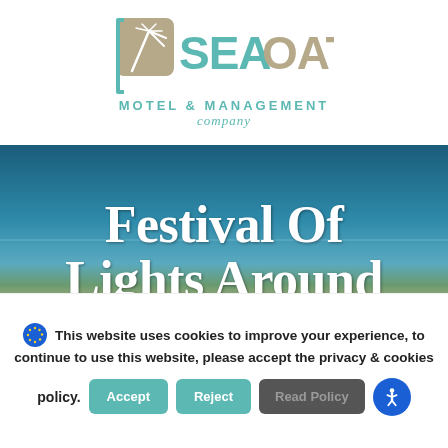[Figure (logo): Sea Oats Motel & Management Company logo — teal bracket with palm frond icon, bold 'SEAOATS' text, and teal script/serif subtitle]
[Figure (photo): Beach scene with blue sky, ocean horizon, sand dunes with sea grass, and wooden boardwalk. Overlaid with large white serif text reading 'Festival Of Lights Around' (cut off at bottom).]
This website uses cookies to improve your experience, to continue to use this website, please accept the privacy & cookies policy.
Accept
Reject
Read Policy